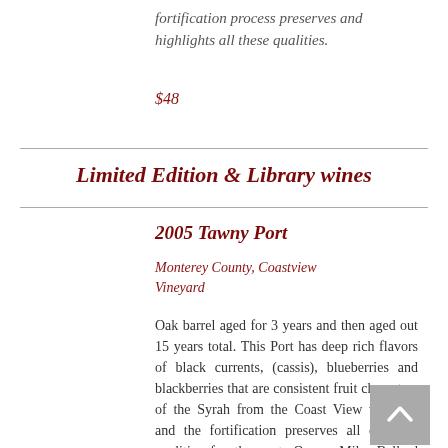fortification process preserves and highlights all these qualities.
$48
Limited Edition & Library wines
2005 Tawny Port
Monterey County, Coastview Vineyard
Oak barrel aged for 3 years and then aged out 15 years total. This Port has deep rich flavors of black currents, (cassis), blueberries and blackberries that are consistent fruit characters of the Syrah from the Coast View vineyard and the fortification preserves all of these qualities for the port. Owner Mike Ballard dubbed this bottling the "Nectar of the Gods"!